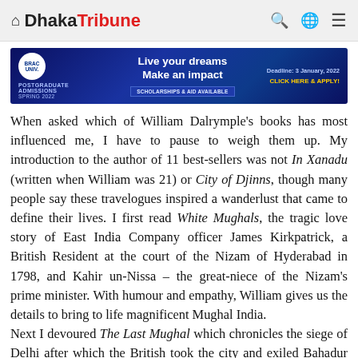Dhaka Tribune
[Figure (other): BRAC University advertisement banner: Postgraduate Admissions Spring 2022, Live your dreams Make an impact, Scholarships & Aid Available, Deadline: 3 January, 2022, Click Here & Apply!]
When asked which of William Dalrymple's books has most influenced me, I have to pause to weigh them up. My introduction to the author of 11 best-sellers was not In Xanadu (written when William was 21) or City of Djinns, though many people say these travelogues inspired a wanderlust that came to define their lives. I first read White Mughals, the tragic love story of East India Company officer James Kirkpatrick, a British Resident at the court of the Nizam of Hyderabad in 1798, and Kahir un-Nissa – the great-niece of the Nizam's prime minister. With humour and empathy, William gives us the details to bring to life magnificent Mughal India.
Next I devoured The Last Mughal which chronicles the siege of Delhi after which the British took the city and exiled Bahadur Shah Zafar II, the last Mughal emperor. I had the opportunity to watch William and Vidya Shah